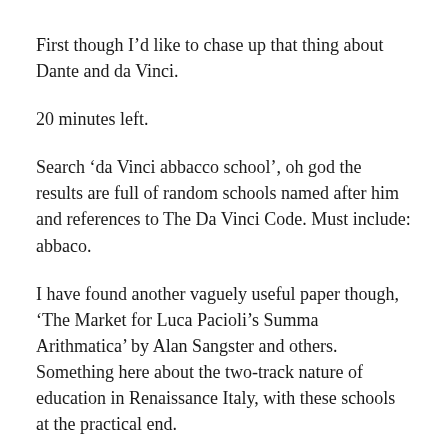First though I’d like to chase up that thing about Dante and da Vinci.
20 minutes left.
Search ‘da Vinci abbacco school’, oh god the results are full of random schools named after him and references to The Da Vinci Code. Must include: abbaco.
I have found another vaguely useful paper though, ‘The Market for Luca Pacioli’s Summa Arithmatica’ by Alan Sangster and others. Something here about the two-track nature of education in Renaissance Italy, with these schools at the practical end.
The…